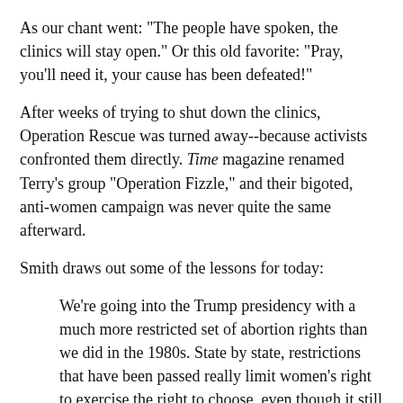As our chant went: "The people have spoken, the clinics will stay open." Or this old favorite: "Pray, you'll need it, your cause has been defeated!"
After weeks of trying to shut down the clinics, Operation Rescue was turned away--because activists confronted them directly. Time magazine renamed Terry's group "Operation Fizzle," and their bigoted, anti-women campaign was never quite the same afterward.
Smith draws out some of the lessons for today:
We're going into the Trump presidency with a much more restricted set of abortion rights than we did in the 1980s. State by state, restrictions that have been passed really limit women's right to exercise the right to choose, even though it still exists on paper. That provides the backdrop for anything that happens.